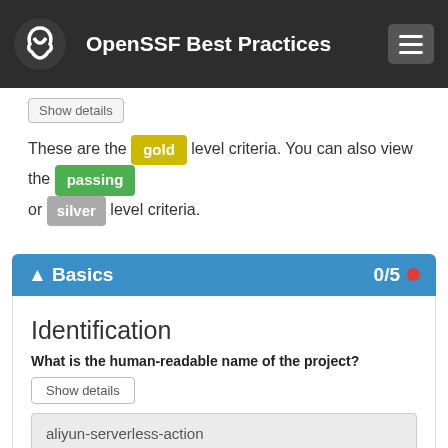OpenSSF Best Practices
Show details
These are the gold level criteria. You can also view the passing or silver level criteria.
Basics 0/5
Identification
What is the human-readable name of the project?
Show details
aliyun-serverless-action
What is a brief description of the project?